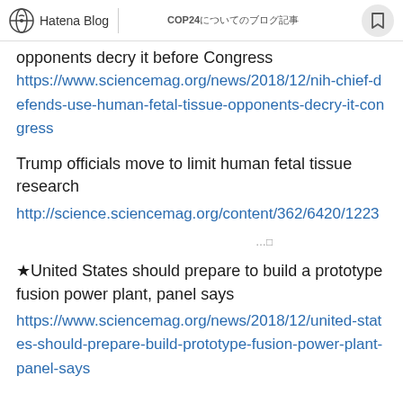Hatena Blog | COP24についてのブログ記事
opponents decry it before Congress
https://www.sciencemag.org/news/2018/12/nih-chief-defends-use-human-fetal-tissue-opponents-decry-it-congress
Trump officials move to limit human fetal tissue research
http://science.sciencemag.org/content/362/6420/1223
（日本語テキスト）…
★United States should prepare to build a prototype fusion power plant, panel says
https://www.sciencemag.org/news/2018/12/united-states-should-prepare-build-prototype-fusion-power-plant-panel-says